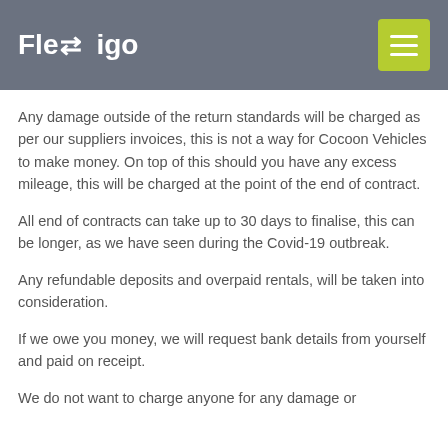Flexigo
Any damage outside of the return standards will be charged as per our suppliers invoices, this is not a way for Cocoon Vehicles to make money. On top of this should you have any excess mileage, this will be charged at the point of the end of contract.
All end of contracts can take up to 30 days to finalise, this can be longer, as we have seen during the Covid-19 outbreak.
Any refundable deposits and overpaid rentals, will be taken into consideration.
If we owe you money, we will request bank details from yourself and paid on receipt.
We do not want to charge anyone for any damage or